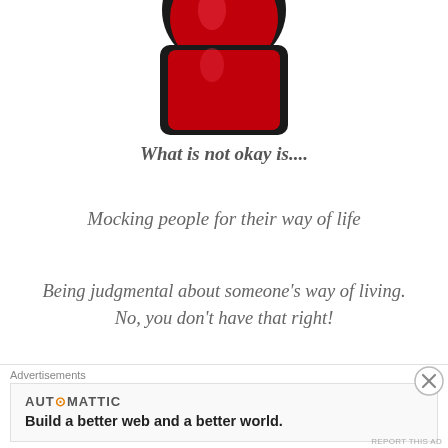[Figure (illustration): Bottom portion of a red and black wine glass or similar vessel, partially cropped at top]
What is not okay is....
Mocking people for their way of life
Being judgmental about someone's way of living. No, you don't have that right!
Molesting & raping women, animals, men and children
Insulting and discriminating based on colour, caste
Advertisements
AUTOMATTIC
Build a better web and a better world.